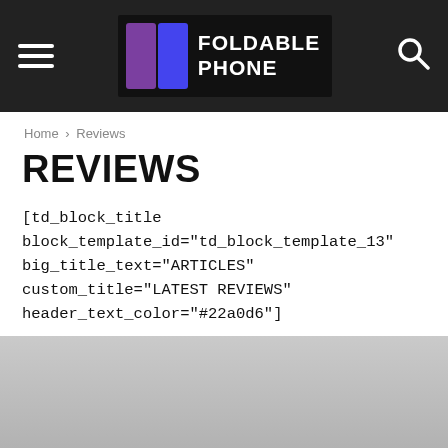FOLDABLE PHONE
Home › Reviews
REVIEWS
[td_block_title block_template_id="td_block_template_13" big_title_text="ARTICLES" custom_title="LATEST REVIEWS" header_text_color="#22a0d6"]